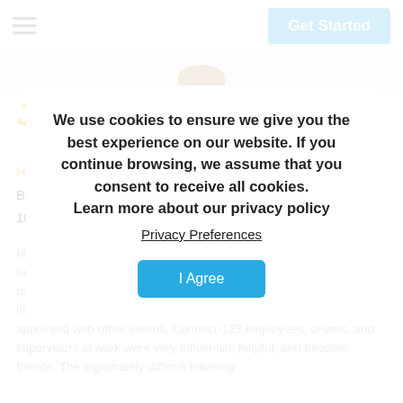Get Started
James Bradley Minton
Healthcare Intern | Cape Town
Brigham Young University
10 August 2017
My time as an intern with Connect-123 was an experience that helped me to strengthen and build upon my extraordinary professional skills and qualities. There were many extraordinary individuals that I met, whose work was so great that I became die-appointed with other interns, Connect-123 employees, drivers, and supervisors at work were very influential, helpful, and become friends. The legitimately-difficult traveling
We use cookies to ensure we give you the best experience on our website. If you continue browsing, we assume that you consent to receive all cookies.
Learn more about our privacy policy
Privacy Preferences
I Agree